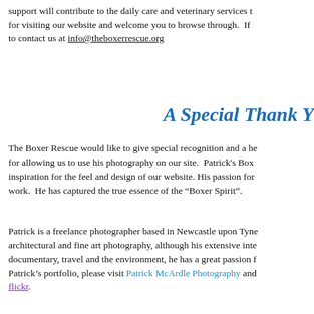support will contribute to the daily care and veterinary services t for visiting our website and welcome you to browse through. If to contact us at info@theboxerrescue.org
A Special Thank Y
The Boxer Rescue would like to give special recognition and a he for allowing us to use his photography on our site. Patrick's Box inspiration for the feel and design of our website. His passion for work. He has captured the true essence of the "Boxer Spirit".
Patrick is a freelance photographer based in Newcastle upon Tyne architectural and fine art photography, although his extensive inte documentary, travel and the environment, he has a great passion f Patrick's portfolio, please visit Patrick McArdle Photography and flickr.